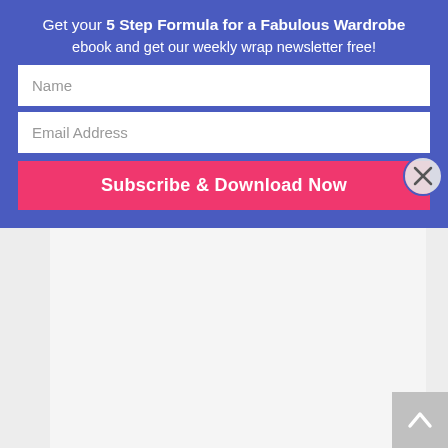Get your 5 Step Formula for a Fabulous Wardrobe ebook and get our weekly wrap newsletter free!
[Figure (screenshot): Email subscription form with Name field, Email Address field, and Subscribe & Download Now button on blue background, with close (X) button]
trying to do create visual balance. There are 4 main principles of co-ordination that influences how you achieve balance with your outfits. These are: Levels of Refinement Principle of Volume Related Shapes Related Lines When...
Don't Waste Your Money – A Shape
Body Shapes • April 28, 2010 • 16 Comments